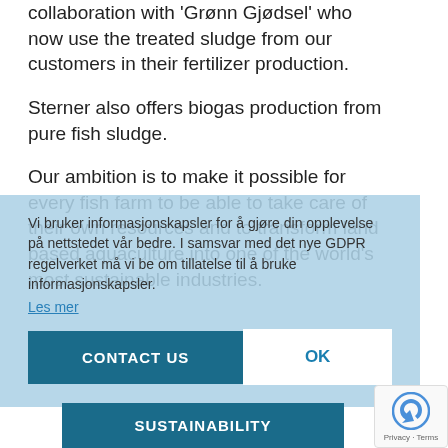collaboration with 'Grønn Gjødsel' who now use the treated sludge from our customers in their fertilizer production.
Sterner also offers biogas production from pure fish sludge.
Our ambition is to make it possible for every fish farm to be able to take care of their own resources and to transform land based aquaculture into one of the world's most sustainable industries.
Vi bruker informasjonskapsler for å gjøre din opplevelse på nettstedet vår bedre. I samsvar med det nye GDPR regelverket må vi be om tillatelse til å bruke informasjonskapsler.
Les mer
CONTACT US
OK
SUSTAINABILITY